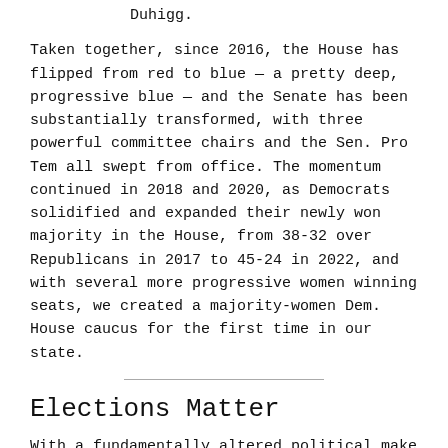Duhigg.
Taken together, since 2016, the House has flipped from red to blue — a pretty deep, progressive blue — and the Senate has been substantially transformed, with three powerful committee chairs and the Sen. Pro Tem all swept from office. The momentum continued in 2018 and 2020, as Democrats solidified and expanded their newly won majority in the House, from 38-32 over Republicans in 2017 to 45-24 in 2022, and with several more progressive women winning seats, we created a majority-women Dem. House caucus for the first time in our state.
Elections Matter
With a fundamentally altered political make up, the legislature has passed some hugely important legislation in the last three sessions:
Decriminalizing abortion, after years of failed efforts: